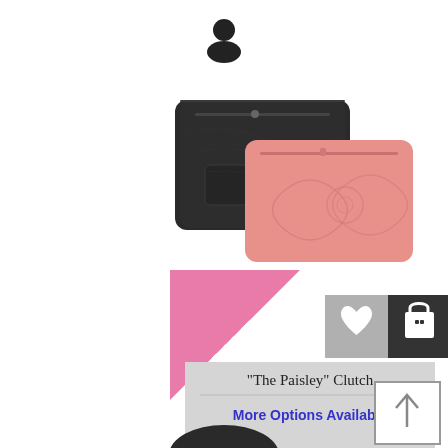[Figure (screenshot): E-commerce product listing page screenshot showing two clutch bags (black and pink 'Paisley' clutch), a SALE badge, heart/cart action buttons, product name card reading '"The Paisley" Clutch', 'More Options Available' link in blue, and a back-to-top arrow button.]